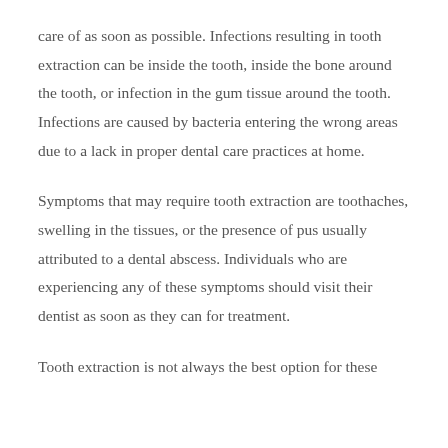care of as soon as possible. Infections resulting in tooth extraction can be inside the tooth, inside the bone around the tooth, or infection in the gum tissue around the tooth. Infections are caused by bacteria entering the wrong areas due to a lack in proper dental care practices at home.
Symptoms that may require tooth extraction are toothaches, swelling in the tissues, or the presence of pus usually attributed to a dental abscess. Individuals who are experiencing any of these symptoms should visit their dentist as soon as they can for treatment.
Tooth extraction is not always the best option for these